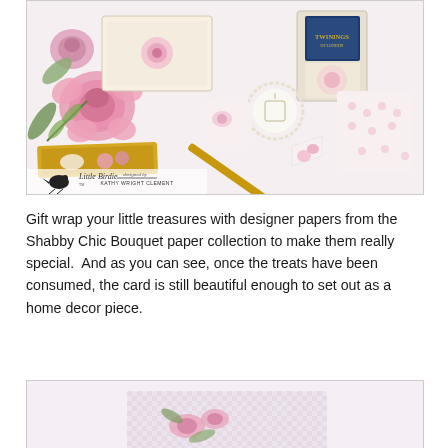[Figure (photo): Photo of Shabby Chic Bouquet gift wrap items including floral-decorated boxes, chocolate bar wrapper with bird motif, a tea tin (Twinings), floral crackers, lace doily tag, and a gold straw with floral banner flag. Little Birdie logo and 'designed by Kathy Wright Clement' text at the bottom left.]
Gift wrap your little treasures with designer papers from the Shabby Chic Bouquet paper collection to make them really special.  And as you can see, once the treats have been consumed, the card is still beautiful enough to set out as a home decor piece.
[Figure (photo): Partial photo showing a Shabby Chic Bouquet decorated item, appears to be a floral-wrapped box or card with pink and white patterns, partially visible at the bottom of the page.]